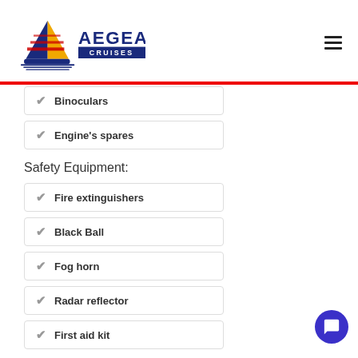[Figure (logo): Aegean Cruises logo with sailboat graphic and text]
Binoculars
Engine's spares
Safety Equipment:
Fire extinguishers
Black Ball
Fog horn
Radar reflector
First aid kit